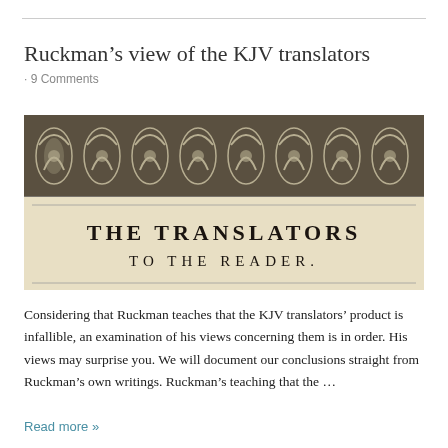Ruckman’s view of the KJV translators
· 9 Comments
[Figure (illustration): Historical ornamental header image showing decorative scrollwork border on top half and text reading 'THE TRANSLATORS TO THE READER.' on parchment-colored lower half]
Considering that Ruckman teaches that the KJV translators’ product is infallible, an examination of his views concerning them is in order. His views may surprise you. We will document our conclusions straight from Ruckman’s own writings. Ruckman’s teaching that the …
Read more »